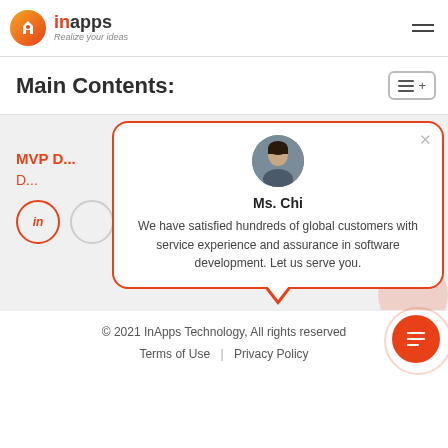[Figure (logo): InApps logo with orange gradient circle icon and text 'inApps Realize your ideas']
Main Contents:
Mobile Ap...
MVP D...
D...
[Figure (screenshot): Chat popup with Ms. Chi avatar. Text: Ms. Chi - We have satisfied hundreds of global customers with service experience and assurance in software development. Let us serve you.]
© 2021 InApps Technology, All rights reserved. Terms of Use | Privacy Policy